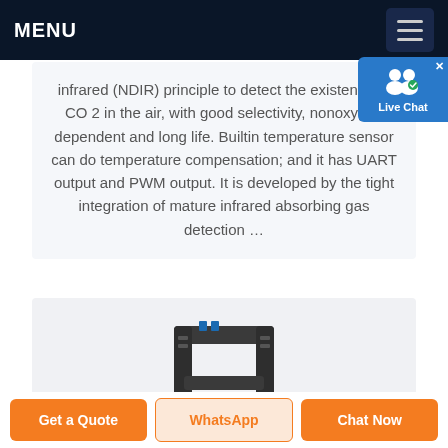MENU
infrared (NDIR) principle to detect the existence of CO 2 in the air, with good selectivity, nonoxygen dependent and long life. Builtin temperature sensor can do temperature compensation; and it has UART output and PWM output. It is developed by the tight integration of mature infrared absorbing gas detection …
[Figure (photo): A CO2 infrared sensor module shown from above, dark colored U-shaped component visible]
[Figure (screenshot): Live Chat button overlay on the top right corner with user icon and blue background]
Get a Quote
WhatsApp
Chat Now